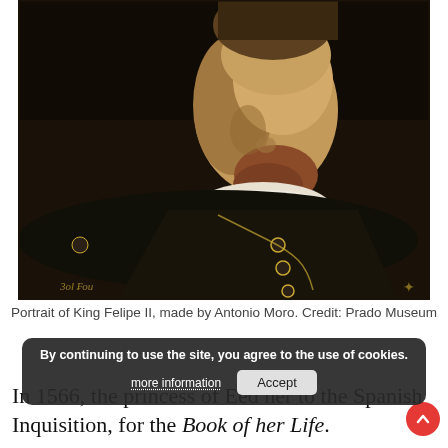[Figure (photo): Portrait painting of King Felipe II, shown from shoulders up in three-quarter view, wearing dark clothing with ornate buttons and a white lace ruff collar, with a reddish beard. Dark background. Small signature or text visible in lower left corner.]
Portrait of King Felipe II, made by Antonio Moro. Credit: Prado Museum
By continuing to use the site, you agree to the use of cookies. [more information] [Accept]
In 1566, the princess of E[...] ed her to the Spanish Inquisition, for the Book of her Life.